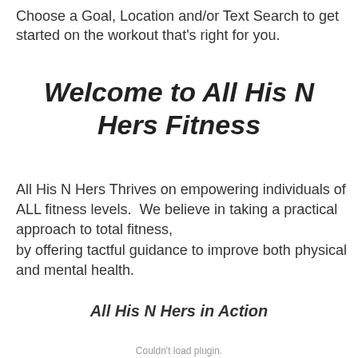Choose a Goal, Location and/or Text Search to get started on the workout that's right for you.
Welcome to All His N Hers Fitness
All His N Hers Thrives on empowering individuals of ALL fitness levels.  We believe in taking a practical approach to total fitness, by offering tactful guidance to improve both physical and mental health.
All His N Hers in Action
Couldn't load plugin.